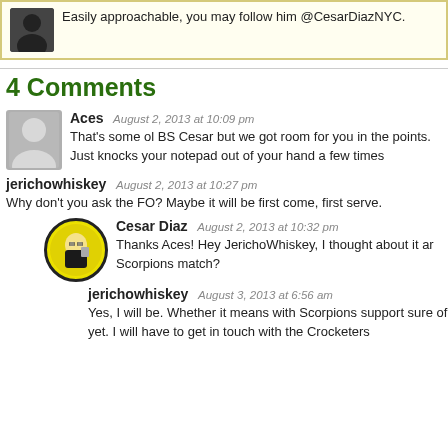Easily approachable, you may follow him @CesarDiazNYC.
4 Comments
Aces  August 2, 2013 at 10:09 pm
That's some ol BS Cesar but we got room for you in the points. Just knocks your notepad out of your hand a few times
jerichowhiskey  August 2, 2013 at 10:27 pm
Why don't you ask the FO? Maybe it will be first come, first serve.
Cesar Diaz  August 2, 2013 at 10:32 pm
Thanks Aces! Hey JerichoWhiskey, I thought about it ar Scorpions match?
jerichowhiskey  August 3, 2013 at 6:56 am
Yes, I will be. Whether it means with Scorpions support sure of yet. I will have to get in touch with the Crocketers